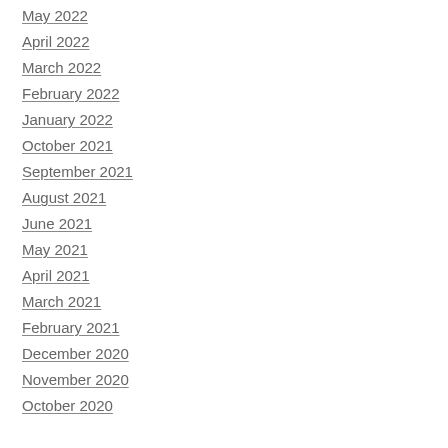May 2022
April 2022
March 2022
February 2022
January 2022
October 2021
September 2021
August 2021
June 2021
May 2021
April 2021
March 2021
February 2021
December 2020
November 2020
October 2020